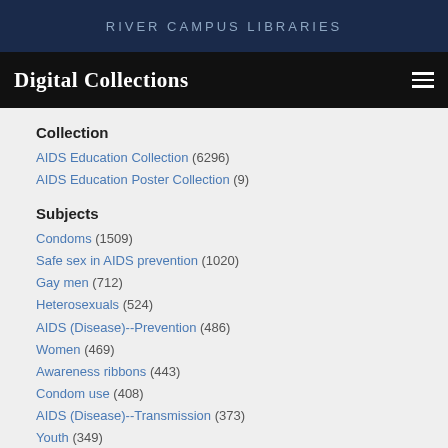RIVER CAMPUS LIBRARIES
Digital Collections
Collection
AIDS Education Collection (6296)
AIDS Education Poster Collection (9)
Subjects
Condoms (1509)
Safe sex in AIDS prevention (1020)
Gay men (712)
Heterosexuals (524)
AIDS (Disease)--Prevention (486)
Women (469)
Awareness ribbons (443)
Condom use (408)
AIDS (Disease)--Transmission (373)
Youth (349)